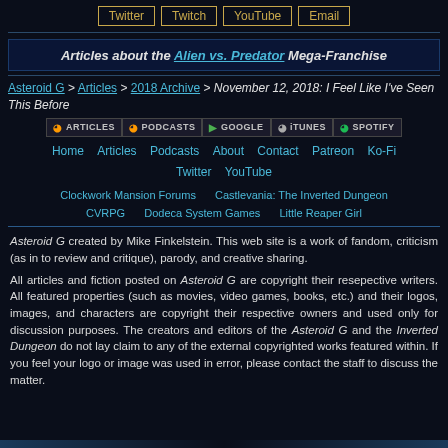Twitter | Twitch | YouTube | Email
Articles about the Alien vs. Predator Mega-Franchise
Asteroid G > Articles > 2018 Archive > November 12, 2018: I Feel Like I've Seen This Before
[Figure (infographic): Navigation icon buttons: ARTICLES, PODCASTS, GOOGLE, iTUNES, SPOTIFY]
Home   Articles   Podcasts   About   Contact   Patreon   Ko-Fi   Twitter   YouTube
Clockwork Mansion Forums    Castlevania: The Inverted Dungeon   CVRPG   Dodeca System Games   Little Reaper Girl
Asteroid G created by Mike Finkelstein. This web site is a work of fandom, criticism (as in to review and critique), parody, and creative sharing.
All articles and fiction posted on Asteroid G are copyright their resepective writers. All featured properties (such as movies, video games, books, etc.) and their logos, images, and characters are copyright their respective owners and used only for discussion purposes. The creators and editors of the Asteroid G and the Inverted Dungeon do not lay claim to any of the external copyrighted works featured within. If you feel your logo or image was used in error, please contact the staff to discuss the matter.